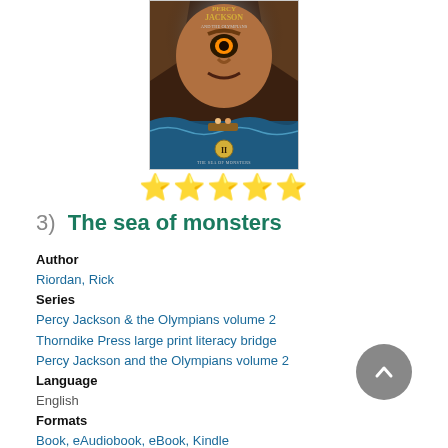[Figure (illustration): Book cover for Percy Jackson and the Olympians: The Sea of Monsters (volume II), showing fantasy artwork with a giant face and adventurers on a sea]
★★★★★
3)  The sea of monsters
Author
Riordan, Rick
Series
Percy Jackson & the Olympians volume 2
Thorndike Press large print literacy bridge
Percy Jackson and the Olympians volume 2
Language
English
Formats
Book, eAudiobook, eBook, Kindle
Description
Read Description